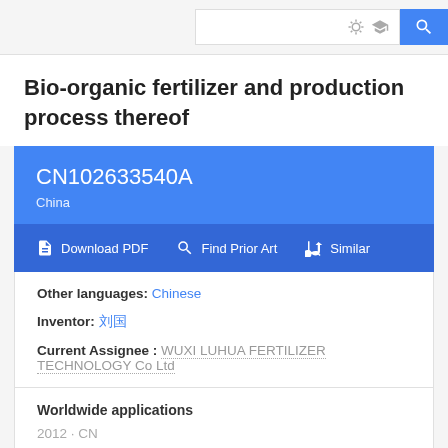Search bar with light bulb, graduation cap, and search button
Bio-organic fertilizer and production process thereof
CN102633540A
China
Download PDF  Find Prior Art  Similar
Other languages: Chinese
Inventor: 刘国
Current Assignee : WUXI LUHUA FERTILIZER TECHNOLOGY Co Ltd
Worldwide applications
2012 · CN